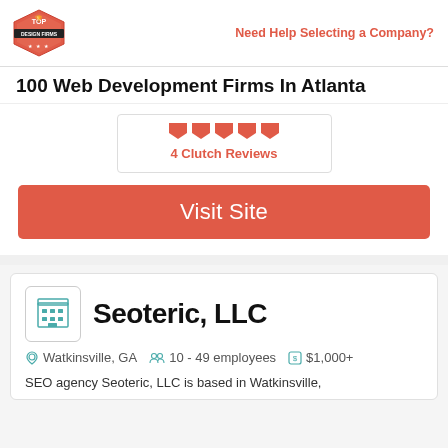Top Design Firms | Need Help Selecting a Company?
100 Web Development Firms In Atlanta
4 Clutch Reviews
Visit Site
Seoteric, LLC
Watkinsville, GA   10 - 49 employees   $1,000+
SEO agency Seoteric, LLC is based in Watkinsville,